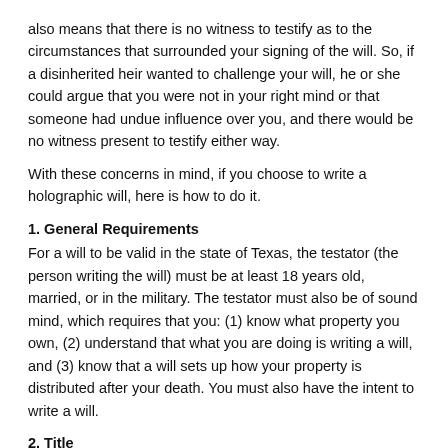also means that there is no witness to testify as to the circumstances that surrounded your signing of the will. So, if a disinherited heir wanted to challenge your will, he or she could argue that you were not in your right mind or that someone had undue influence over you, and there would be no witness present to testify either way.
With these concerns in mind, if you choose to write a holographic will, here is how to do it.
1. General Requirements
For a will to be valid in the state of Texas, the testator (the person writing the will) must be at least 18 years old, married, or in the military. The testator must also be of sound mind, which requires that you: (1) know what property you own, (2) understand that what you are doing is writing a will, and (3) know that a will sets up how your property is distributed after your death. You must also have the intent to write a will.
2. Title
At the top of the page, write the title of the document. This helps show that you intended to write a will. For example: "The Last Will and Testament of Derick Lancaster."
3. Opening Line